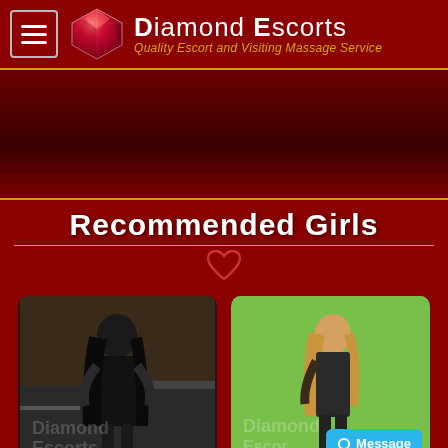Diamond Escorts - Quality Escort and Visiting Massage Service
[Figure (photo): Dark red banner/advertisement area]
Recommended Girls
[Figure (photo): Photo of woman in dark clothing against dark interior background with Diamond Escorts watermark]
[Figure (photo): Photo of woman in dark outfit against green background with Diamond Escorts watermark]